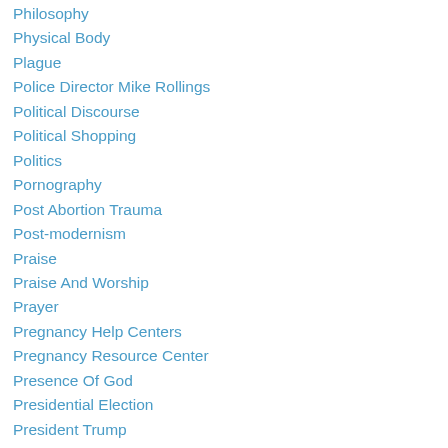Philosophy
Physical Body
Plague
Police Director Mike Rollings
Political Discourse
Political Shopping
Politics
Pornography
Post Abortion Trauma
Post-modernism
Praise
Praise And Worship
Prayer
Pregnancy Help Centers
Pregnancy Resource Center
Presence Of God
Presidential Election
President Trump
Pride
Pride Of Man
Private Worship